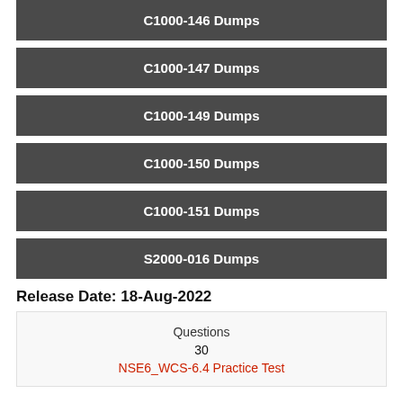C1000-146 Dumps
C1000-147 Dumps
C1000-149 Dumps
C1000-150 Dumps
C1000-151 Dumps
S2000-016 Dumps
Release Date: 18-Aug-2022
| Questions | 30 | NSE6_WCS-6.4 Practice Test |
| --- | --- | --- |